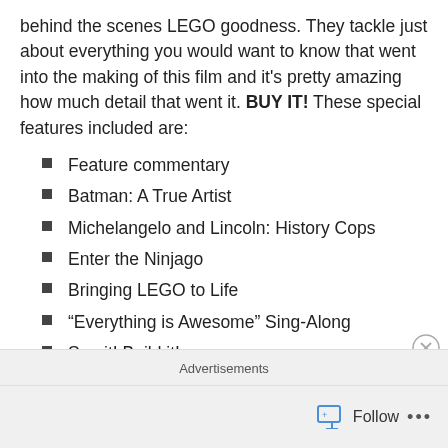behind the scenes LEGO goodness. They tackle just about everything you would want to know that went into the making of this film and it's pretty amazing how much detail that went it. BUY IT! These special features included are:
Feature commentary
Batman: A True Artist
Michelangelo and Lincoln: History Cops
Enter the Ninjago
Bringing LEGO to Life
“Everything is Awesome” Sing-Along
See it! Build it!
Stories from the Story Team
Advertisements   Follow ...